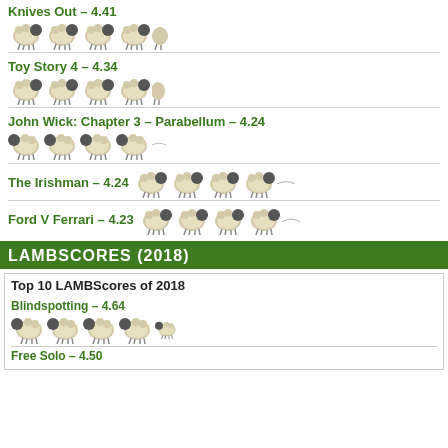Knives Out – 4.41
Toy Story 4 – 4.34
John Wick: Chapter 3 – Parabellum – 4.24
The Irishman – 4.24
Ford V Ferrari – 4.23
LAMBSCORES (2018)
Top 10 LAMBScores of 2018
Blindspotting – 4.64
Free Solo – 4.50